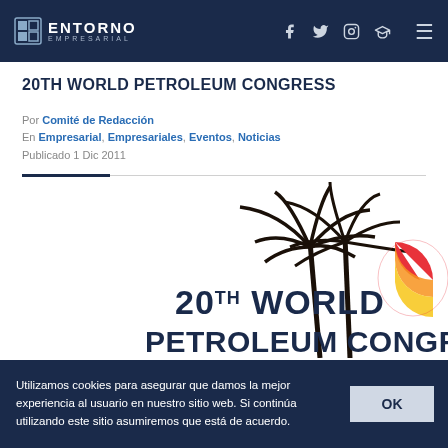ENTORNO EMPRESARIAL
20TH WORLD PETROLEUM CONGRESS
Por Comité de Redacción
En Empresarial, Empresariales, Eventos, Noticias
Publicado 1 Dic 2011
[Figure (photo): Logo/image of 20th World Petroleum Congress with palm trees and a stylized sun graphic, partially visible]
Utilizamos cookies para asegurar que damos la mejor experiencia al usuario en nuestro sitio web. Si continúa utilizando este sitio asumiremos que está de acuerdo.